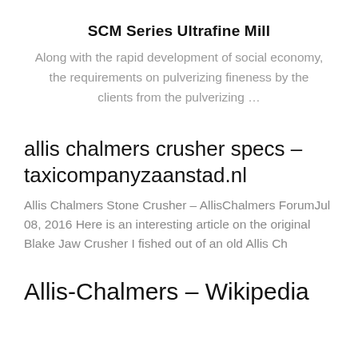SCM Series Ultrafine Mill
Along with the rapid development of social economy, the requirements on pulverizing fineness by the clients from the pulverizing …
allis chalmers crusher specs - taxicompanyzaanstad.nl
Allis Chalmers Stone Crusher - AllisChalmers ForumJul 08, 2016 Here is an interesting article on the original Blake Jaw Crusher I fished out of an old Allis Ch
Allis-Chalmers - Wikipedia